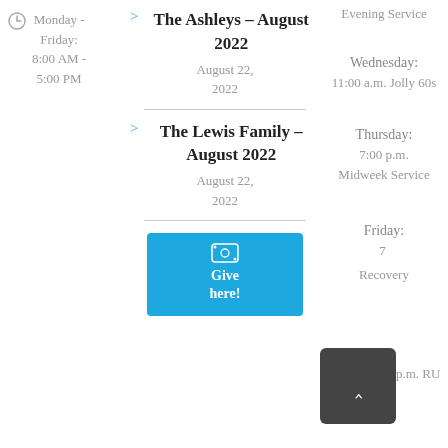Monday - Friday: 8:00 AM - 5:00 PM
> The Ashleys – August 2022
August 22, 2022
> The Lewis Family – August 2022
August 22, 2022
Evening Service
Wednesday: 11:00 a.m. Jolly 60s
Thursday: 7:00 p.m. Midweek Service
Friday: 7:00 p.m. RU Recovery
[Figure (other): Give here! donation button with dollar bill icon, blue background]
[Figure (other): Scroll to top button, dark gray with upward chevron arrow]